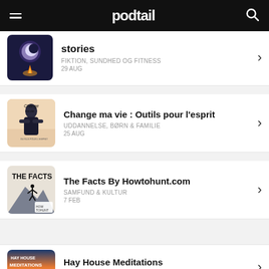podtail
[Figure (screenshot): Podcast thumbnail for Stories - night sky scene with campfire]
stories
FIKTION, SUNDHED OG FITNESS
29 AUG
[Figure (screenshot): Podcast thumbnail for Change ma vie - woman with crossed arms]
Change ma vie : Outils pour l'esprit
UDDANNELSE, BØRN & FAMILIE
25 AUG
[Figure (screenshot): Podcast thumbnail for The Facts By Howtohunt.com - silhouette on mountain]
The Facts By Howtohunt.com
SAMFUND & KULTUR
7 FEB
[Figure (screenshot): Podcast thumbnail for Hay House Meditations - gradient sky]
Hay House Meditations
RELIGION & SPIRITUALITET, SUNDHED OG FITNESS